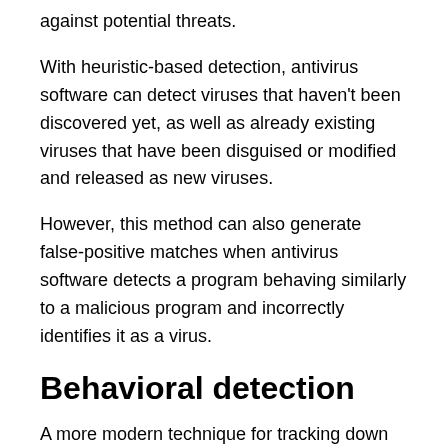against potential threats.
With heuristic-based detection, antivirus software can detect viruses that haven't been discovered yet, as well as already existing viruses that have been disguised or modified and released as new viruses.
However, this method can also generate false-positive matches when antivirus software detects a program behaving similarly to a malicious program and incorrectly identifies it as a virus.
Behavioral detection
A more modern technique for tracking down